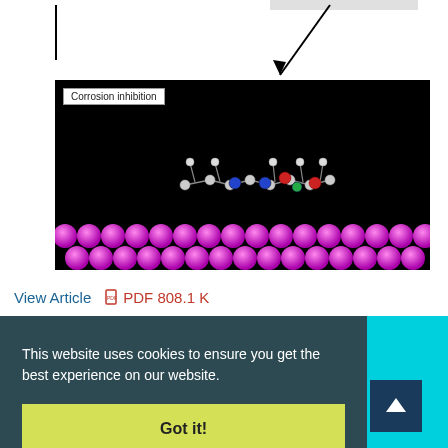[Figure (illustration): Molecular dynamics simulation showing a molecule adsorbed on a pink metallic surface (corrosion inhibition). Label 'Corrosion inhibition' in top-left corner of image. Black background with molecule ball-and-stick model above rows of pink spheres representing metal surface.]
View Article   PDF 808.1 K
This website uses cookies to ensure you get the best experience on our website.
Got it!
Chemical